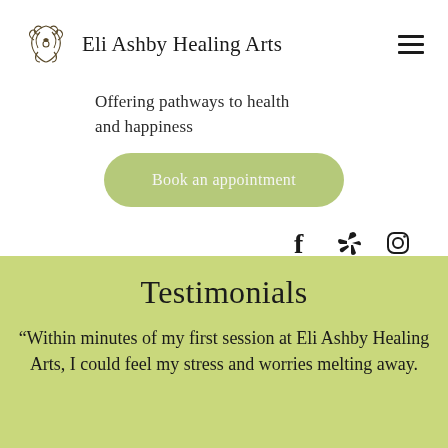Eli Ashby Healing Arts
Offering pathways to health and happiness
Book an appointment
[Figure (other): Social media icons: Facebook, Yelp, Instagram]
Testimonials
“Within minutes of my first session at Eli Ashby Healing Arts, I could feel my stress and worries melting away.